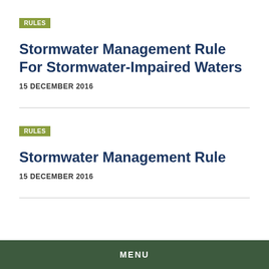RULES
Stormwater Management Rule For Stormwater-Impaired Waters
15 DECEMBER 2016
RULES
Stormwater Management Rule
15 DECEMBER 2016
MENU